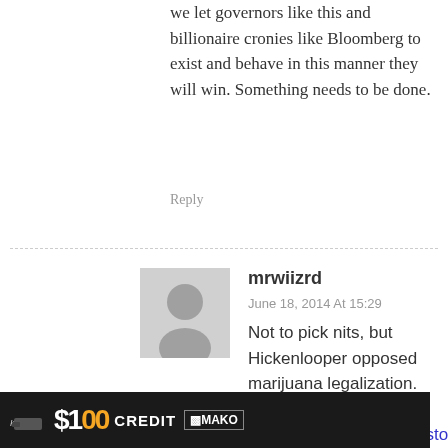we let governors like this and billionaire cronies like Bloomberg to exist and behave in this manner they will win. Something needs to be done.
Reply
mrwiizrd
June 18, 2014 At 15:29
Not to pick nits, but Hickenlooper opposed marijuana legalization.
http://www.politico.com/story/2014/02/john-hickenlooper-marijuana-legalization-103810.html
He's more than happy to spend the tax revenue of course.
"
[Figure (photo): Advertisement banner showing a gun image, '$100 CREDIT' text in large white letters, and MAKO logo on dark background]